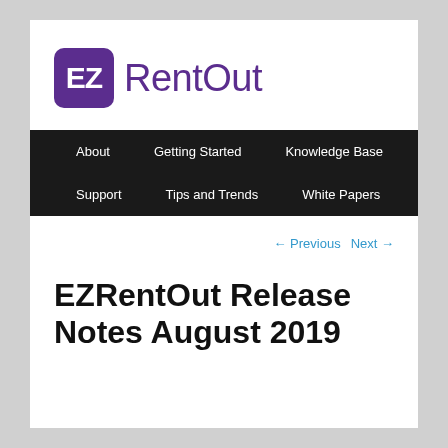[Figure (logo): EZ RentOut logo: purple rounded square with 'EZ' in white, followed by 'RentOut' in purple text]
About  Getting Started  Knowledge Base  Support  Tips and Trends  White Papers
← Previous   Next →
EZRentOut Release Notes August 2019